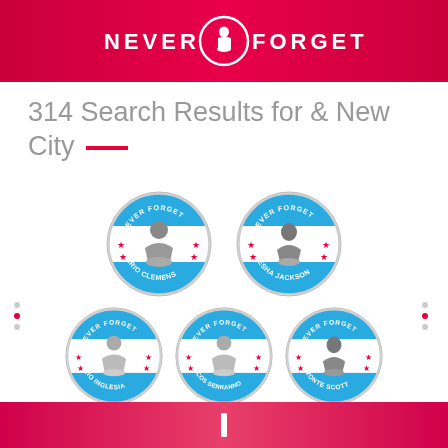NEVER FORGET
314 Search Results for & New City
[Figure (illustration): Five circular badge/coin illustrations arranged in two rows. Each coin has a light blue and white Chicago flag design with red stars, the text 'NEVER FORGET' at the top, a silhouette of a kneeling child figure in the center, and a name at the bottom. Row 1: MARIO CLEMENS, MYESHA JACKSON. Row 2: JULIO INGLESIA, MARCOS SERRANNO, DEVONTE SCOTT.]